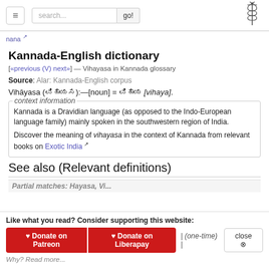☰ search... go! [caduceus logo]
nana →
Kannada-English dictionary
[«previous (V) next»] — Vihayasa in Kannada glossary
Source: Alar: Kannada-English corpus
Vihāyasa (ವಿಹಾಯಸ):—[noun] = ವಿಹಾಯ [vihaya].
context information
Kannada is a Dravidian language (as opposed to the Indo-European language family) mainly spoken in the southwestern region of India.
Discover the meaning of vihayasa in the context of Kannada from relevant books on Exotic India ↗
See also (Relevant definitions)
Partial matches: Hayasa, Vi...
Like what you read? Consider supporting this website:
♥ Donate on Patreon  ♥ Donate on Liberapay  | (one-time) |  close ⊗
Why? Read more...